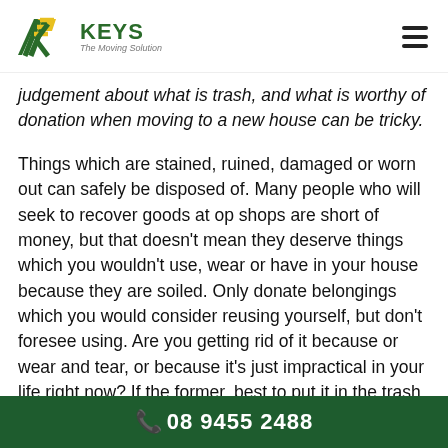KEYS The Moving Solution
judgement about what is trash, and what is worthy of donation when moving to a new house can be tricky.
Things which are stained, ruined, damaged or worn out can safely be disposed of. Many people who will seek to recover goods at op shops are short of money, but that doesn't mean they deserve things which you wouldn't use, wear or have in your house because they are soiled. Only donate belongings which you would consider reusing yourself, but don't foresee using. Are you getting rid of it because or wear and tear, or because it's just impractical in your life right now? If the former, best to put it in the trash.
📞 08 9455 2488